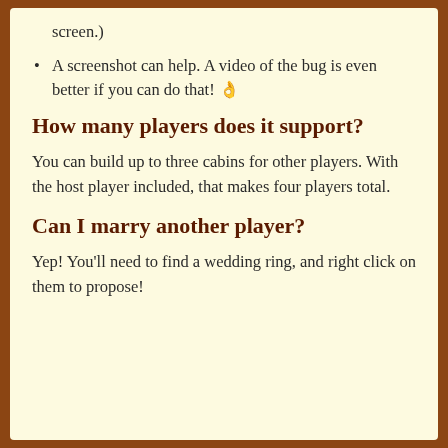screen.)
A screenshot can help. A video of the bug is even better if you can do that! 👌
How many players does it support?
You can build up to three cabins for other players. With the host player included, that makes four players total.
Can I marry another player?
Yep! You'll need to find a wedding ring, and right click on them to propose!